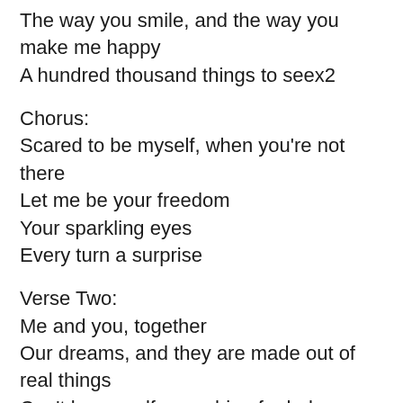The way you smile, and the way you make me happy
A hundred thousand things to seex2
Chorus:
Scared to be myself, when you're not there
Let me be your freedom
Your sparkling eyes
Every turn a surprise
Verse Two:
Me and you, together
Our dreams, and they are made out of real things
Can't be myself, searching for help
It touches my foolish heart
Chorus
Scared to be myself, when you're not there
There may be other days as rich and rare